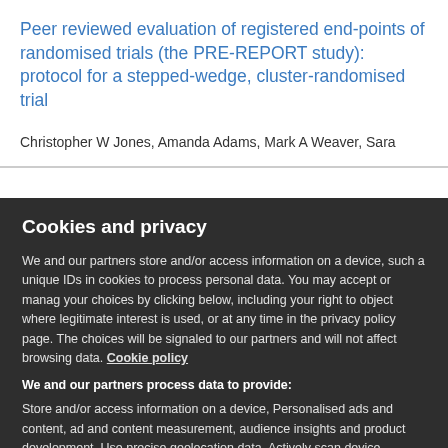Peer reviewed evaluation of registered end-points of randomised trials (the PRE-REPORT study): protocol for a stepped-wedge, cluster-randomised trial
Christopher W Jones, Amanda Adams, Mark A Weaver, Sara
Cookies and privacy
We and our partners store and/or access information on a device, such as unique IDs in cookies to process personal data. You may accept or manage your choices by clicking below, including your right to object where legitimate interest is used, or at any time in the privacy policy page. These choices will be signaled to our partners and will not affect browsing data. Cookie policy
We and our partners process data to provide:
Store and/or access information on a device, Personalised ads and content, ad and content measurement, audience insights and product development, Use precise geolocation data, Actively scan device characteristics for identification
List of Partners (vendors)